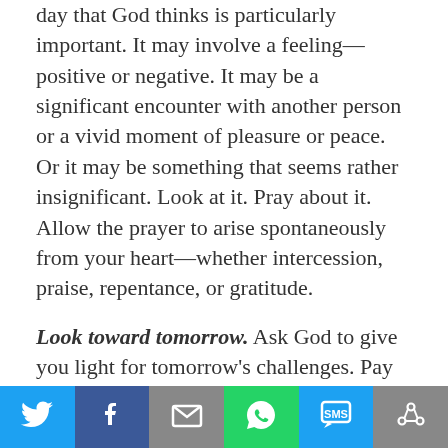day that God thinks is particularly important. It may involve a feeling—positive or negative. It may be a significant encounter with another person or a vivid moment of pleasure or peace. Or it may be something that seems rather insignificant. Look at it. Pray about it. Allow the prayer to arise spontaneously from your heart—whether intercession, praise, repentance, or gratitude.
Look toward tomorrow. Ask God to give you light for tomorrow's challenges. Pay attention to the feelings that surface as you survey what's coming up. Are you doubtful? Cheerful? Apprehensive? Full of delighted anticipation? Allow these feelings to turn into prayer. Seek God's guidance. Ask him for help and understanding. Pray for hope.
[Figure (infographic): Social sharing footer bar with six buttons: Twitter (blue), Facebook (dark blue), Email (gray), WhatsApp (green), SMS (blue), More/Share (gray)]